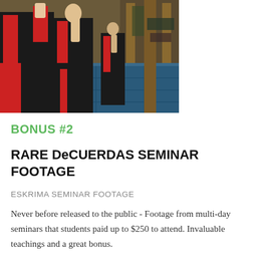[Figure (photo): Martial artists in red and black uniforms practicing Eskrima/DeCuerdas techniques in a gym with blue mats]
BONUS #2
RARE DeCUERDAS SEMINAR FOOTAGE
ESKRIMA SEMINAR FOOTAGE
Never before released to the public - Footage from multi-day seminars that students paid up to $250 to attend. Invaluable teachings and a great bonus.